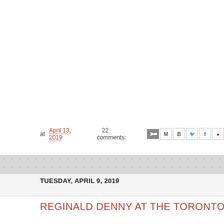at April 13, 2019   22 comments:
TUESDAY, APRIL 9, 2019
REGINALD DENNY AT THE TORONTO SILENT FI...
[Figure (photo): Toronto Silent Film Festival promotional image showing the festival logo with text 'TORONTO SILENT FILM FESTIVAL April 5 - 8, 2019' and a black and white portrait of a woman with curly hair on a black background.]